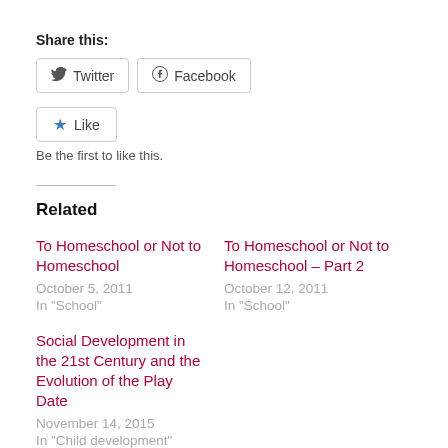Share this:
Twitter   Facebook
Like   Be the first to like this.
Related
To Homeschool or Not to Homeschool
October 5, 2011
In "School"
To Homeschool or Not to Homeschool – Part 2
October 12, 2011
In "School"
Social Development in the 21st Century and the Evolution of the Play Date
November 14, 2015
In "Child development"